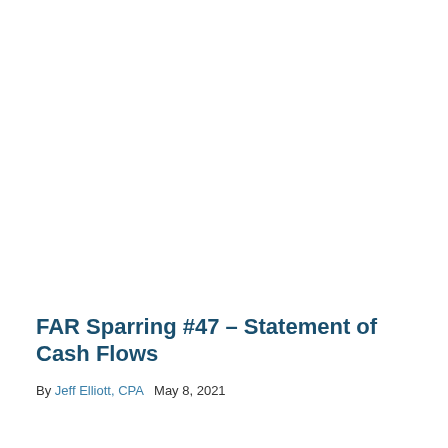FAR Sparring #47 – Statement of Cash Flows
By Jeff Elliott, CPA   May 8, 2021